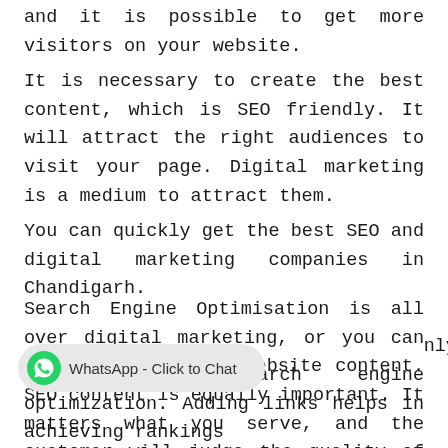and it is possible to get more visitors on your website.
It is necessary to create the best content, which is SEO friendly. It will attract the right audiences to visit your page. Digital marketing is a medium to attract them.
You can quickly get the best SEO and digital marketing companies in Chandigarh.
Search Engine Optimisation is all over digital marketing, or you can say lungs of it of website content. SEO content is equally important. It matters what you serve, and the customer will judge the quality of the content and not the quantity of it. Cracking algorithms is essential so that the customer knows what you're serving them. The existence
[Figure (other): WhatsApp Click to Chat button overlay]
only because of search engine optimization. Adding links helps in achieving rankings